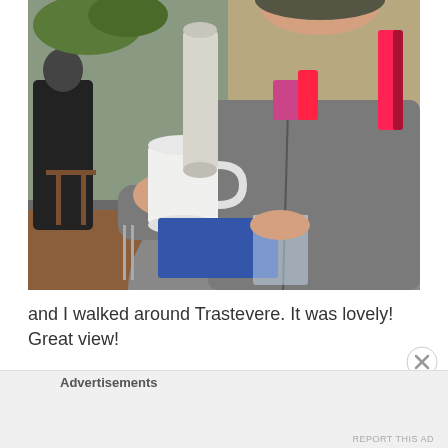[Figure (photo): A woman in a grey zip-up hoodie smiling, holding up a white ceramic cup at an outdoor cafe in Trastevere. She is sitting at a wooden table with a blue napkin and a glass of water. In the background is an outdoor patio with chairs, tables, a cylindrical post, and some plants.]
and I walked around Trastevere. It was lovely! Great view!
Advertisements